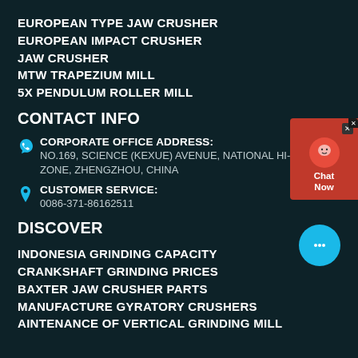EUROPEAN TYPE JAW CRUSHER
EUROPEAN IMPACT CRUSHER
JAW CRUSHER
MTW TRAPEZIUM MILL
5X PENDULUM ROLLER MILL
CONTACT INFO
CORPORATE OFFICE ADDRESS: NO.169, SCIENCE (KEXUE) AVENUE, NATIONAL HI-T ZONE, ZHENGZHOU, CHINA
CUSTOMER SERVICE: 0086-371-86162511
DISCOVER
INDONESIA GRINDING CAPACITY
CRANKSHAFT GRINDING PRICES
BAXTER JAW CRUSHER PARTS
MANUFACTURE GYRATORY CRUSHERS
AINTENANCE OF VERTICAL GRINDING MILL